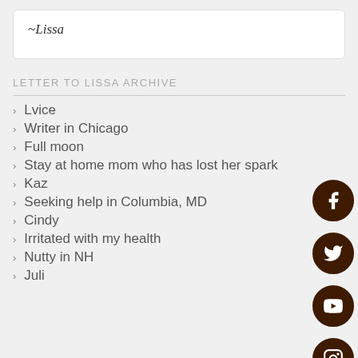~Lissa
LETTER TO LISSA ARCHIVE
Lvice
Writer in Chicago
Full moon
Stay at home mom who has lost her spark
Kaz
Seeking help in Columbia, MD
Cindy
Irritated with my health
Nutty in NH
Juli
[Figure (illustration): Social media icons (Facebook, Twitter, YouTube, Instagram, Amazon) in dark brown circles on the right side of the page]